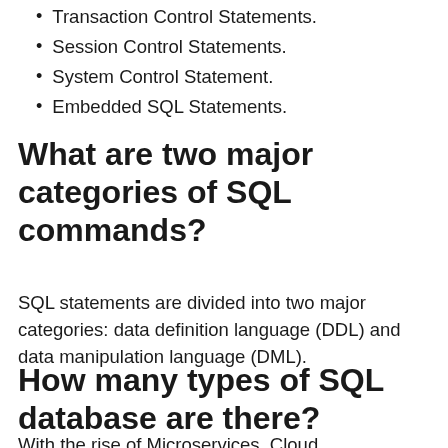Transaction Control Statements.
Session Control Statements.
System Control Statement.
Embedded SQL Statements.
What are two major categories of SQL commands?
SQL statements are divided into two major categories: data definition language (DDL) and data manipulation language (DML).
How many types of SQL database are there?
With the rise of Microservices, Cloud